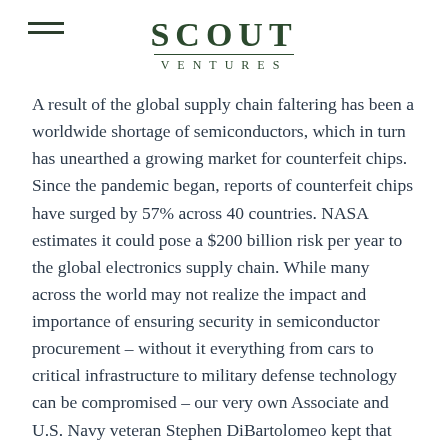SCOUT VENTURES
A result of the global supply chain faltering has been a worldwide shortage of semiconductors, which in turn has unearthed a growing market for counterfeit chips. Since the pandemic began, reports of counterfeit chips have surged by 57% across 40 countries. NASA estimates it could pose a $200 billion risk per year to the global electronics supply chain. While many across the world may not realize the impact and importance of ensuring security in semiconductor procurement – without it everything from cars to critical infrastructure to military defense technology can be compromised – our very own Associate and U.S. Navy veteran Stephen DiBartolomeo kept that top of mind.